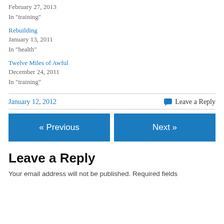February 27, 2013
In "training"
Rebuilding
January 13, 2011
In "health"
Twelve Miles of Awful
December 24, 2011
In "training"
January 12, 2012
Leave a Reply
« Previous
Next »
Leave a Reply
Your email address will not be published. Required fields